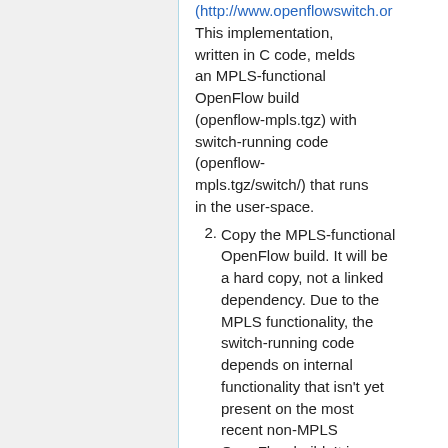(http://www.openflowswitch.o... This implementation, written in C code, melds an MPLS-functional OpenFlow build (openflow-mpls.tgz) with switch-running code (openflow-mpls.tgz/switch/) that runs in the user-space.
2. Copy the MPLS-functional OpenFlow build. It will be a hard copy, not a linked dependency. Due to the MPLS functionality, the switch-running code depends on internal functionality that isn't yet present on the most recent non-MPLS OpenFlow build. It is